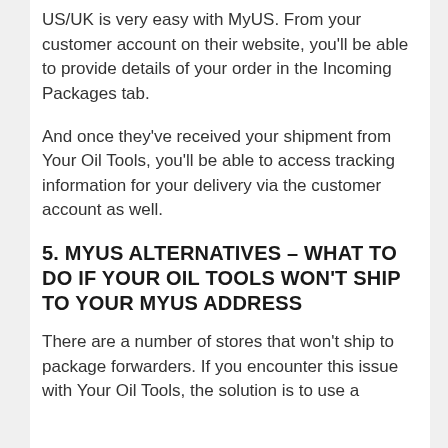US/UK is very easy with MyUS. From your customer account on their website, you'll be able to provide details of your order in the Incoming Packages tab.
And once they've received your shipment from Your Oil Tools, you'll be able to access tracking information for your delivery via the customer account as well.
5. MYUS ALTERNATIVES – WHAT TO DO IF YOUR OIL TOOLS WON'T SHIP TO YOUR MYUS ADDRESS
There are a number of stores that won't ship to package forwarders. If you encounter this issue with Your Oil Tools, the solution is to use a